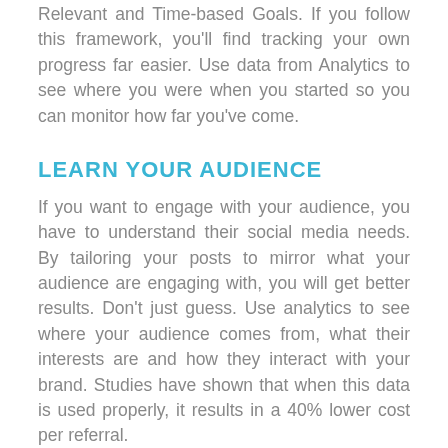Relevant and Time-based Goals. If you follow this framework, you'll find tracking your own progress far easier. Use data from Analytics to see where you were when you started so you can monitor how far you've come.
LEARN YOUR AUDIENCE
If you want to engage with your audience, you have to understand their social media needs. By tailoring your posts to mirror what your audience are engaging with, you will get better results. Don't just guess. Use analytics to see where your audience comes from, what their interests are and how they interact with your brand. Studies have shown that when this data is used properly, it results in a 40% lower cost per referral.